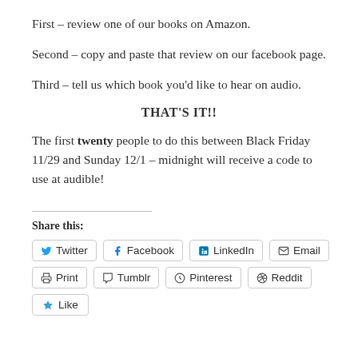First – review one of our books on Amazon.
Second – copy and paste that review on our facebook page.
Third – tell us which book you'd like to hear on audio.
THAT'S IT!!
The first twenty people to do this between Black Friday 11/29 and Sunday 12/1 – midnight will receive a code to use at audible!
Share this:
Twitter | Facebook | LinkedIn | Email | Print | Tumblr | Pinterest | Reddit | Like